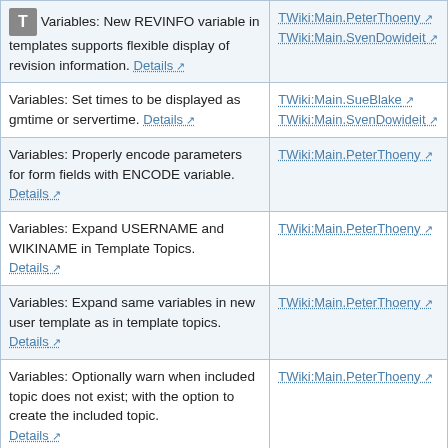| Description | Contributors |
| --- | --- |
| Variables: New REVINFO variable in templates supports flexible display of revision information. Details | TWiki:Main.PeterThoeny
TWiki:Main.SvenDowideit |
| Variables: Set times to be displayed as gmtime or servertime. Details | TWiki:Main.SueBlake
TWiki:Main.SvenDowideit |
| Variables: Properly encode parameters for form fields with ENCODE variable. Details | TWiki:Main.PeterThoeny |
| Variables: Expand USERNAME and WIKINAME in Template Topics. Details | TWiki:Main.PeterThoeny |
| Variables: Expand same variables in new user template as in template topics. Details | TWiki:Main.PeterThoeny |
| Variables: Optionally warn when included topic does not exist; with the option to create the included topic. Details | TWiki:Main.PeterThoeny |
| Variables: In topic text show file-types of attached files as icons. Details | TWiki:Main.PeterThoeny |